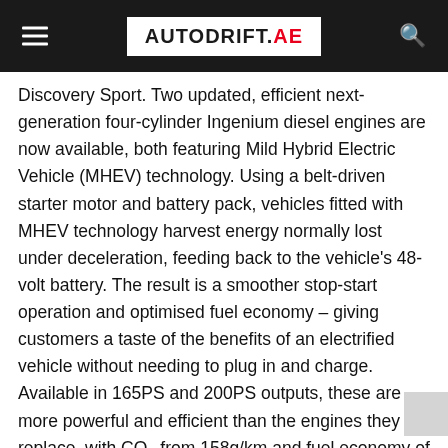AUTODRIFT.AE
Discovery Sport. Two updated, efficient next-generation four-cylinder Ingenium diesel engines are now available, both featuring Mild Hybrid Electric Vehicle (MHEV) technology. Using a belt-driven starter motor and battery pack, vehicles fitted with MHEV technology harvest energy normally lost under deceleration, feeding back to the vehicle's 48-volt battery. The result is a smoother stop-start operation and optimised fuel economy – giving customers a taste of the benefits of an electrified vehicle without needing to plug in and charge. Available in 165PS and 200PS outputs, these are more powerful and efficient than the engines they replace, with CO₂ from 158g/km and fuel economy of up to 46.7mpg (from 6.0l/100km) for the Range Rover Evoque, and CO₂ from 165g/km and fuel economy of up to 44.7mpg (from 6.3l/100km) on the Land Rover Discovery Sport. The first 1.5-litre Ingenium three-